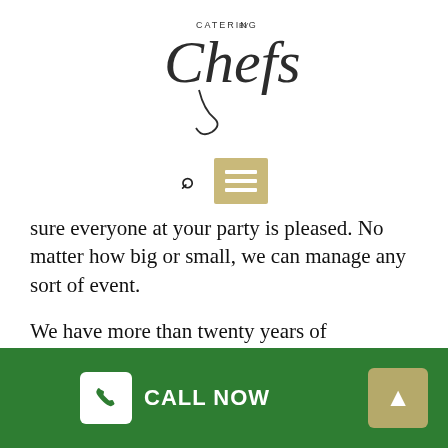[Figure (logo): Catering by Chefs logo with italic script lettering and decorative swirl]
[Figure (other): Navigation bar with search icon and golden hamburger menu icon]
sure everyone at your party is pleased. No matter how big or small, we can manage any sort of event.
We have more than twenty years of experience in finger food catering. Catering by Chefs has the perfect choice for your next function.
Our finger food catering service is readily available for all occasions:
Birthday parties
CALL NOW